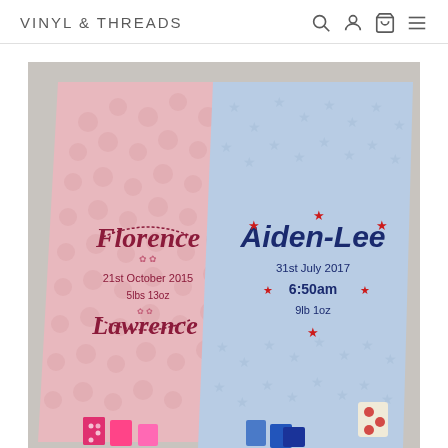VINYL & THREADS
[Figure (photo): Two personalised baby comforter blankets side by side. Left blanket is pink with bubble texture and embroidered with 'Florence' in script, '21st October 2015', '5lbs 13oz', and 'Lawrence' in script, with colorful tags at bottom. Right blanket is light blue with star texture and embroidered with 'Aiden-Lee' in bold, '31st July 2017', '6:50am' flanked by stars, '9lb 1oz', with nautical tags at bottom.]